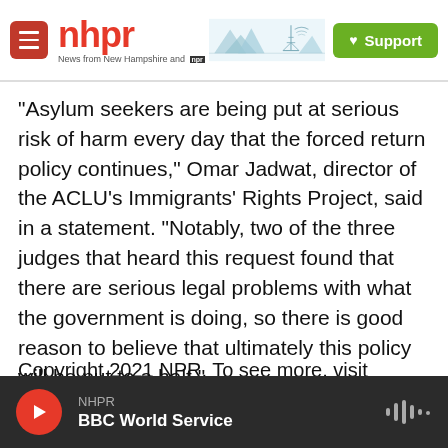[Figure (logo): NHPR (New Hampshire Public Radio) website header with red menu button, NHPR logo in red, mountain/radio tower landscape SVG, and green Support button with heart icon]
"Asylum seekers are being put at serious risk of harm every day that the forced return policy continues," Omar Jadwat, director of the ACLU's Immigrants' Rights Project, said in a statement. "Notably, two of the three judges that heard this request found that there are serious legal problems with what the government is doing, so there is good reason to believe that ultimately this policy will be put to a halt."
Copyright 2021 NPR. To see more, visit https://www.npr.org.
[Figure (screenshot): Audio player bar at bottom: red circular play button, station label NHPR, program name BBC World Service, waveform icon on the right]